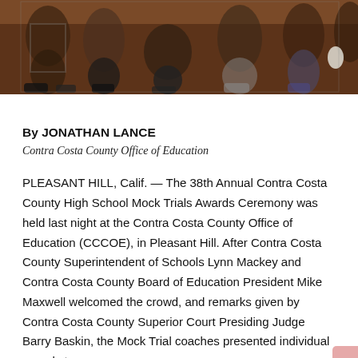[Figure (photo): Group photo showing multiple people posing together, cropped to show lower halves and shoes, with a brown/dark background floor]
By JONATHAN LANCE
Contra Costa County Office of Education
PLEASANT HILL, Calif. — The 38th Annual Contra Costa County High School Mock Trials Awards Ceremony was held last night at the Contra Costa County Office of Education (CCCOE), in Pleasant Hill. After Contra Costa County Superintendent of Schools Lynn Mackey and Contra Costa County Board of Education President Mike Maxwell welcomed the crowd, and remarks given by Contra Costa County Superior Court Presiding Judge Barry Baskin, the Mock Trial coaches presented individual awards to